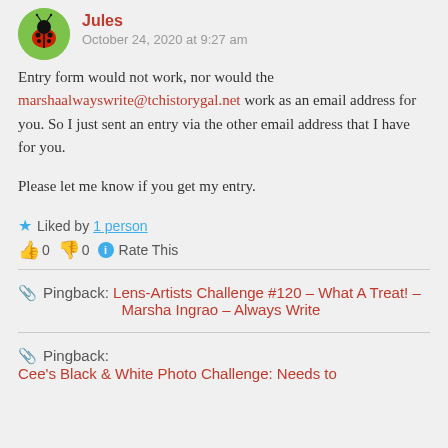[Figure (illustration): Ladybug avatar — circular green background with a red ladybug illustration]
Jules
October 24, 2020 at 9:27 am
Entry form would not work, nor would the marshaalwayswrite@tchistorygal.net work as an email address for you. So I just sent an entry via the other email address that I have for you.

Please let me know if you get my entry.
★ Liked by 1 person
👍 0 👎 0 ℹ Rate This
Pingback: Lens-Artists Challenge #120 – What A Treat! – Marsha Ingrao – Always Write
Pingback: Cee's Black & White Photo Challenge: Needs to